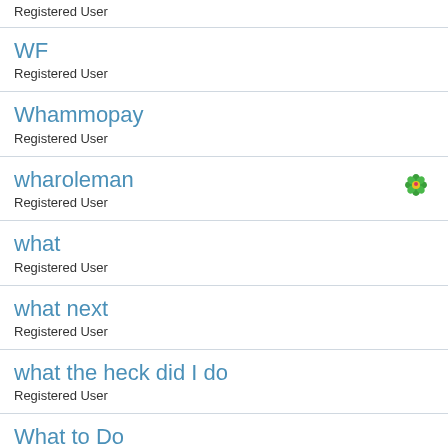Registered User
WF
Registered User
Whammopay
Registered User
wharoleman
Registered User
what
Registered User
what next
Registered User
what the heck did I do
Registered User
What to Do
Registered User